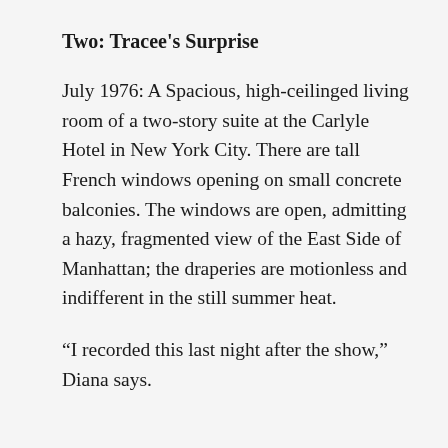Two: Tracee's Surprise
July 1976: A Spacious, high-ceilinged living room of a two-story suite at the Carlyle Hotel in New York City. There are tall French windows opening on small concrete balconies. The windows are open, admitting a hazy, fragmented view of the East Side of Manhattan; the draperies are motionless and indifferent in the still summer heat.
“I recorded this last night after the show,” Diana says.